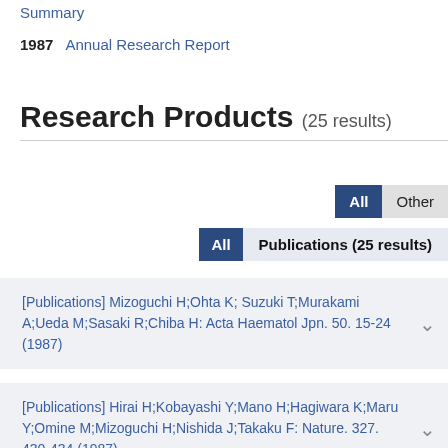Summary
1987   Annual Research Report
Research Products (25 results)
All  Other
All  Publications (25 results)
[Publications] Mizoguchi H;Ohta K; Suzuki T;Murakami A;Ueda M;Sasaki R;Chiba H: Acta Haematol Jpn. 50. 15-24 (1987)
[Publications] Hirai H;Kobayashi Y;Mano H;Hagiwara K;Maru Y;Omine M;Mizoguchi H;Nishida J;Takaku F: Nature. 327. 430-434 (1987)